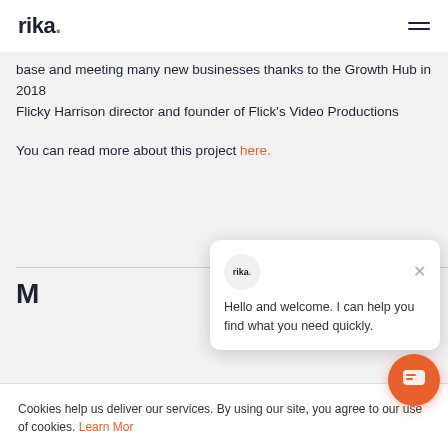rika.
base and meeting many new businesses thanks to the Growth Hub in 2018
Flicky Harrison director and founder of Flick's Video Productions
You can read more about this project here.
M... S... H...
Cookies help us deliver our services. By using our site, you agree to our use of cookies. Learn More
[Figure (screenshot): Chat widget popup with rika logo avatar, close button, and message: Hello and welcome. I can help you find what you need quickly.]